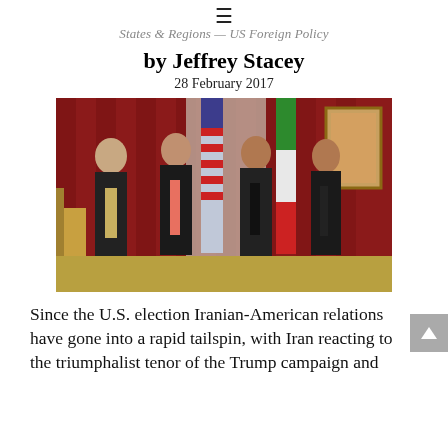☰
States & Regions — US Foreign Policy
by Jeffrey Stacey
28 February 2017
[Figure (photo): Four men in suits standing together in a formal room with red curtains, American and Iranian flags visible in the background. A diplomatic meeting scene.]
Since the U.S. election Iranian-American relations have gone into a rapid tailspin, with Iran reacting to the triumphalist tenor of the Trump campaign and the incoming administration's former National Security ...